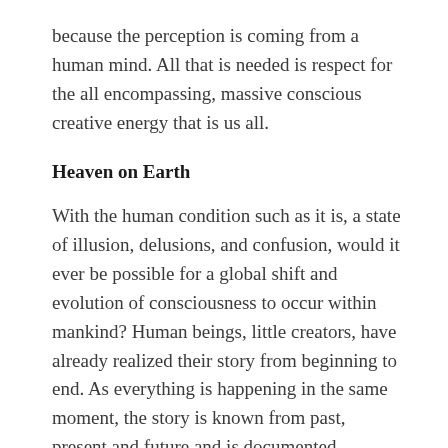because the perception is coming from a human mind. All that is needed is respect for the all encompassing, massive conscious creative energy that is us all.
Heaven on Earth
With the human condition such as it is, a state of illusion, delusions, and confusion, would it ever be possible for a global shift and evolution of consciousness to occur within mankind? Human beings, little creators, have already realized their story from beginning to end. As everything is happening in the same moment, the story is known from past, present and future and is documented everywhere and present in the DNA of our planet. As history has seemed to repeat itself, it's all been one big story and the climax